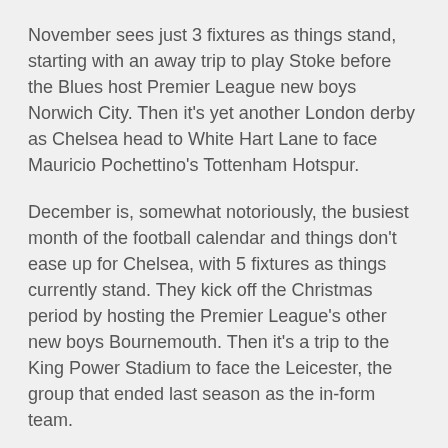November sees just 3 fixtures as things stand, starting with an away trip to play Stoke before the Blues host Premier League new boys Norwich City. Then it's yet another London derby as Chelsea head to White Hart Lane to face Mauricio Pochettino's Tottenham Hotspur.
December is, somewhat notoriously, the busiest month of the football calendar and things don't ease up for Chelsea, with 5 fixtures as things currently stand. They kick off the Christmas period by hosting the Premier League's other new boys Bournemouth. Then it's a trip to the King Power Stadium to face the Leicester, the group that ended last season as the in-form team.
A week later and Chelsea host Sunderland on the 19th of December, followed by a Boxing Day fixture versus the final promoted team, Watford. December